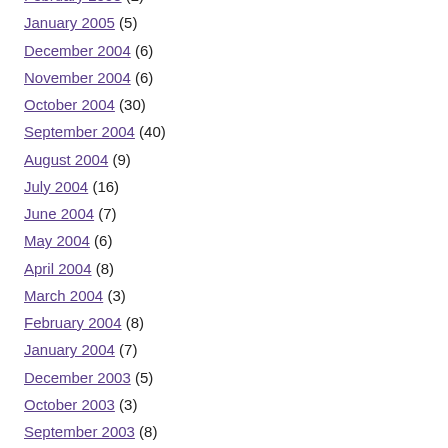February 2005 (2)
January 2005 (5)
December 2004 (6)
November 2004 (6)
October 2004 (30)
September 2004 (40)
August 2004 (9)
July 2004 (16)
June 2004 (7)
May 2004 (6)
April 2004 (8)
March 2004 (3)
February 2004 (8)
January 2004 (7)
December 2003 (5)
October 2003 (3)
September 2003 (8)
August 2003 (4)
July 2003 (6)